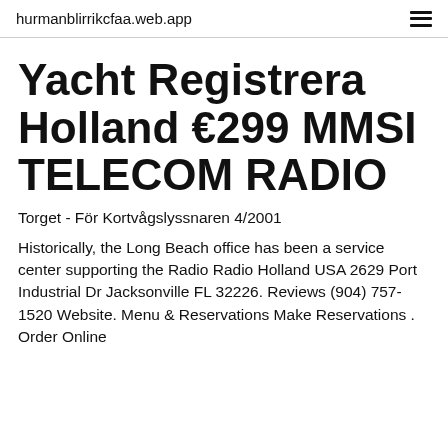hurmanblirrikcfaa.web.app
Yacht Registrera Holland €299 MMSI TELECOM RADIO
Torget - För Kortvågslyssnaren 4/2001
Historically, the Long Beach office has been a service center supporting the Radio Radio Holland USA 2629 Port Industrial Dr Jacksonville FL 32226. Reviews (904) 757-1520 Website. Menu & Reservations Make Reservations . Order Online